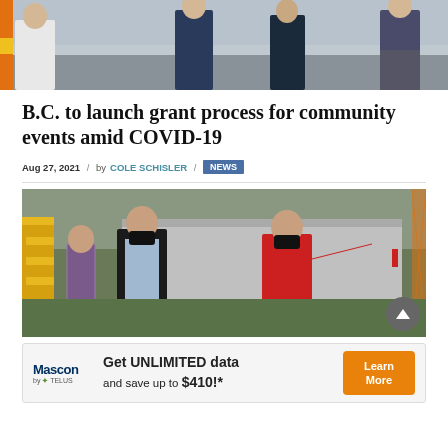[Figure (photo): Group of people standing outside near a building with orange and yellow striped exterior. Several individuals wearing casual and business casual clothing.]
B.C. to launch grant process for community events amid COVID-19
Aug 27, 2021  /  by COLE SCHISLER  /  NEWS
[Figure (photo): Outdoor scene with two masked individuals. One person in a black vest and blue shirt, another in a red shirt pointing to the right. Yellow stairs visible on left, orange safety fencing on right, large trailer in background.]
[Figure (infographic): Advertisement banner: Mascon by TELUS logo on left. Text reads 'Get UNLIMITED data and save up to $410!*'. Orange 'Learn More' button on right.]